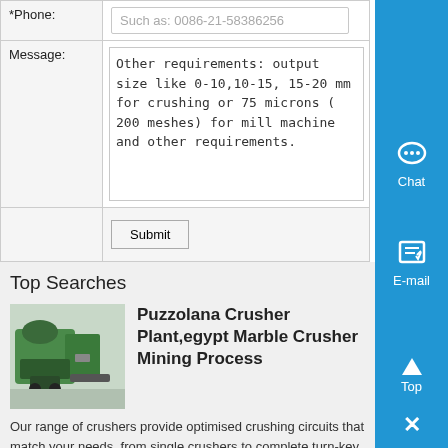| *Phone: | Such as: 0086-21-58386256 |
| Message: | Other requirements: output size like 0-10,10-15, 15-20 mm for crushing or 75 microns ( 200 meshes) for mill machine and other requirements. |
|  | Submit |
Top Searches
[Figure (photo): Industrial crusher machinery, green-colored equipment]
Puzzolana Crusher Plant,egypt Marble Crusher Mining Process
Our range of crushers provide optimised crushing circuits that match your needs, from single crushers to complete turn-key processing plants Supported by expert, highly skilled service teams providing 24/7 global product training and support We are a manufacturer company that